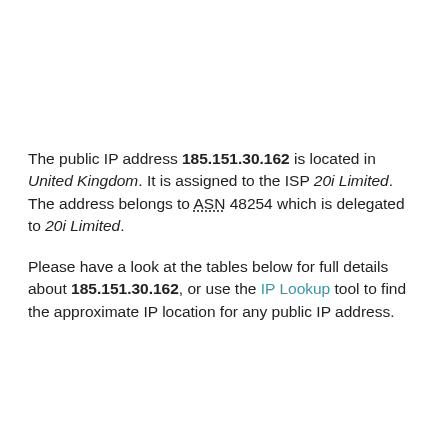The public IP address 185.151.30.162 is located in United Kingdom. It is assigned to the ISP 20i Limited. The address belongs to ASN 48254 which is delegated to 20i Limited.
Please have a look at the tables below for full details about 185.151.30.162, or use the IP Lookup tool to find the approximate IP location for any public IP address.